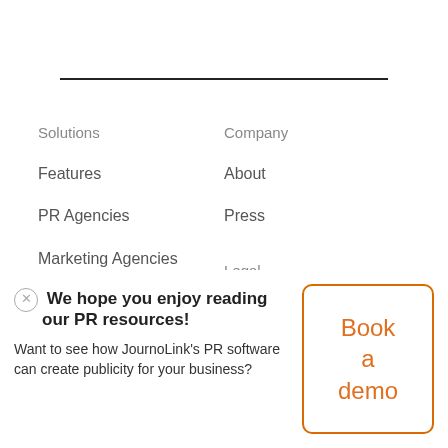Solutions
Company
Features
About
PR Agencies
Press
Marketing Agencies
Legal
Journalists
We hope you enjoy reading our PR resources! Want to see how JournoLink's PR software can create publicity for your business?
Book a demo